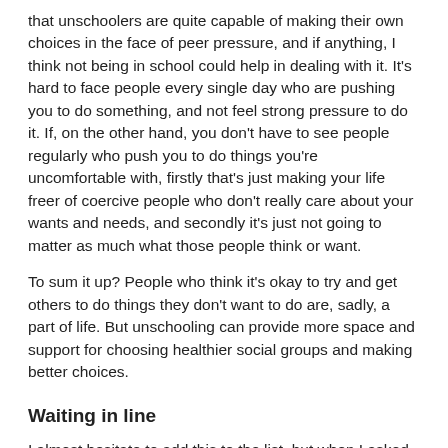that unschoolers are quite capable of making their own choices in the face of peer pressure, and if anything, I think not being in school could help in dealing with it. It's hard to face people every single day who are pushing you to do something, and not feel strong pressure to do it. If, on the other hand, you don't have to see people regularly who push you to do things you're uncomfortable with, firstly that's just making your life freer of coercive people who don't really care about your wants and needs, and secondly it's just not going to matter as much what those people think or want.
To sum it up? People who think it's okay to try and get others to do things they don't want to do are, sadly, a part of life. But unschooling can provide more space and support for choosing healthier social groups and making better choices.
Waiting in line
I almost hesitate to add this to the list, but when I asked people on my Facebook page to share concerned (or concern-trolling) queries they'd received about